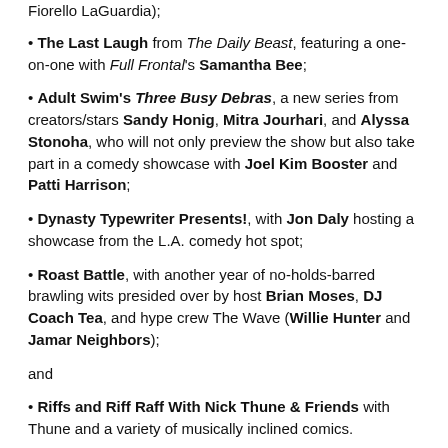Fiorello LaGuardia);
The Last Laugh from The Daily Beast, featuring a one-on-one with Full Frontal's Samantha Bee;
Adult Swim's Three Busy Debras, a new series from creators/stars Sandy Honig, Mitra Jourhari, and Alyssa Stonoha, who will not only preview the show but also take part in a comedy showcase with Joel Kim Booster and Patti Harrison;
Dynasty Typewriter Presents!, with Jon Daly hosting a showcase from the L.A. comedy hot spot;
Roast Battle, with another year of no-holds-barred brawling wits presided over by host Brian Moses, DJ Coach Tea, and hype crew The Wave (Willie Hunter and Jamar Neighbors);
and
Riffs and Riff Raff With Nick Thune & Friends with Thune and a variety of musically inclined comics.
Also on tap are some tried-and-true showcases that it wouldn't be SXSW Comedy without:
The Laugh Button Live!;
Upright Citizens Brigade Theatre's ASSSSCAT, this year hosted by…